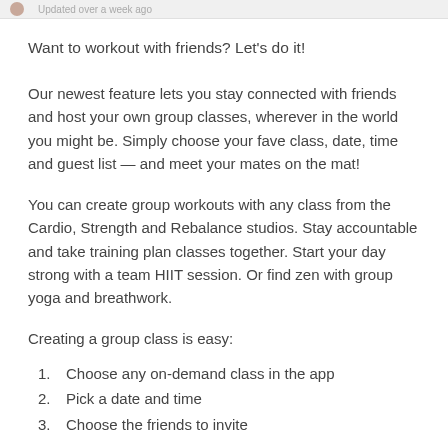Updated over a week ago
Want to workout with friends? Let's do it!
Our newest feature lets you stay connected with friends and host your own group classes, wherever in the world you might be. Simply choose your fave class, date, time and guest list — and meet your mates on the mat!
You can create group workouts with any class from the Cardio, Strength and Rebalance studios. Stay accountable and take training plan classes together. Start your day strong with a team HIIT session. Or find zen with group yoga and breathwork.
Creating a group class is easy:
Choose any on-demand class in the app
Pick a date and time
Choose the friends to invite